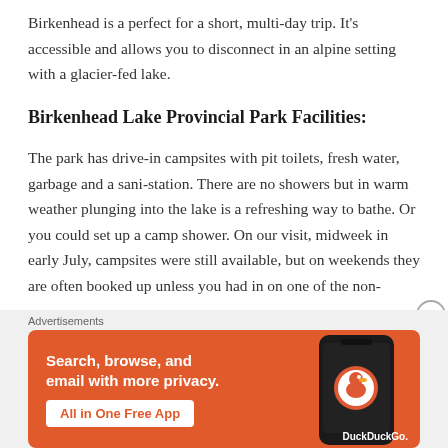Birkenhead is a perfect for a short, multi-day trip. It's accessible and allows you to disconnect in an alpine setting with a glacier-fed lake.
Birkenhead Lake Provincial Park Facilities:
The park has drive-in campsites with pit toilets, fresh water, garbage and a sani-station. There are no showers but in warm weather plunging into the lake is a refreshing way to bathe. Or you could set up a camp shower. On our visit, midweek in early July, campsites were still available, but on weekends they are often booked up unless you had in on one of the non-
[Figure (other): DuckDuckGo advertisement banner with orange background. Text reads: Search, browse, and email with more privacy. All in One Free App. Shows DuckDuckGo logo and phone mockup.]